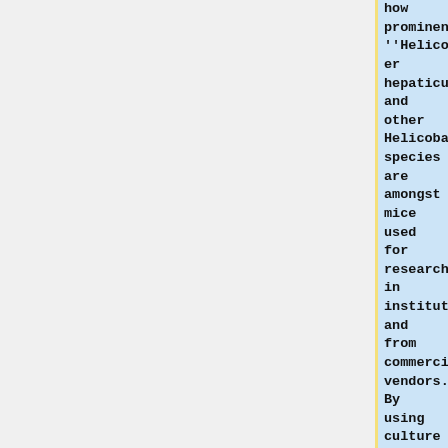how prominent ''Helicobacter hepaticus'' and other Helicobacter species are amongst mice used for research in institutions and from commercial vendors. By using culture from cecal tissue of 79 mice from 34 sources, it was found